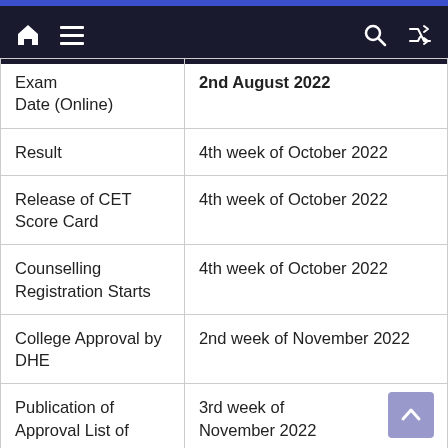Navigation bar with home, menu, search, and shuffle icons
| Event | Date |
| --- | --- |
| Exam Date (Online) | 2nd August 2022 |
| Result | 4th week of October 2022 |
| Release of CET Score Card | 4th week of October 2022 |
| Counselling Registration Starts | 4th week of October 2022 |
| College Approval by DHE | 2nd week of November 2022 |
| Publication of Approval List of | 3rd week of November 2022 |